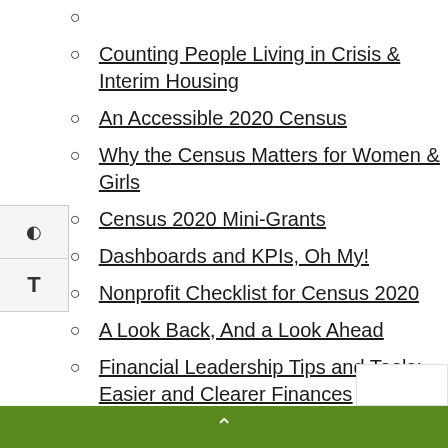Counting People Living in Crisis & Interim Housing
An Accessible 2020 Census
Why the Census Matters for Women & Girls
Census 2020 Mini-Grants
Dashboards and KPIs, Oh My!
Nonprofit Checklist for Census 2020
A Look Back, And a Look Ahead
Financial Leadership Tips and Tools: Easier and Clearer Finances
Montana is Counting on 2020 Census
Sign Up to Become a “Be Counted” Site
^